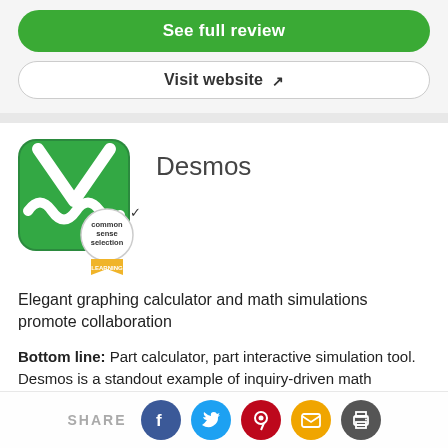See full review
Visit website
[Figure (logo): Desmos app logo - green rounded square with white wave/graph lines and a Common Sense Selection badge with LEARNING ribbon]
Desmos
Elegant graphing calculator and math simulations promote collaboration
Bottom line: Part calculator, part interactive simulation tool. Desmos is a standout example of inquiry-driven math
SHARE